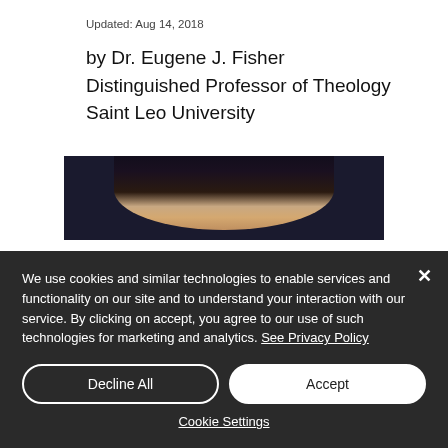Updated: Aug 14, 2018
by Dr. Eugene J. Fisher
Distinguished Professor of Theology
Saint Leo University
[Figure (photo): Top portion of a person's head (forehead and hair) against a dark background]
We use cookies and similar technologies to enable services and functionality on our site and to understand your interaction with our service. By clicking on accept, you agree to our use of such technologies for marketing and analytics. See Privacy Policy
Decline All
Accept
Cookie Settings